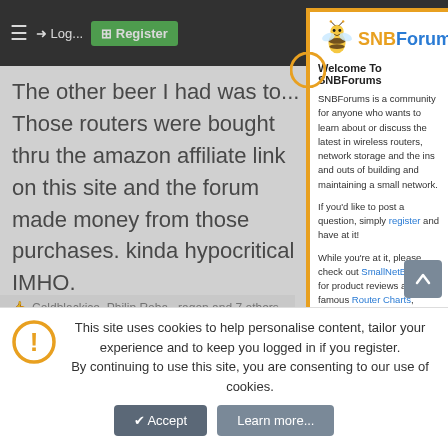[Figure (screenshot): SNBForums website screenshot showing a forum post in the background, an SNBForums welcome popup overlay in the center, and a cookie consent bar at the bottom. The popup has the SNBForums bee logo, welcome text, and links to register and SmallNetBuilder resources.]
The other beer I had was to... Those routers were bought thru the amazon affiliate link on this site and the forum made money from those purchases. kinda hypocritical IMHO.
Coldblackice, Philip Roba...ragon and 7 others
Welcome To SNBForums
SNBForums is a community for anyone who wants to learn about or discuss the latest in wireless routers, network storage and the ins and outs of building and maintaining a small network.
If you'd like to post a question, simply register and have at it!
While you're at it, please check out SmallNetBuilder for product reviews and our famous Router Charts, Ranker and plenty more!
bennor
Senior Member
Apr 13, 2018
#42
This site uses cookies to help personalise content, tailor your experience and to keep you logged in if you register.
By continuing to use this site, you are consenting to our use of cookies.
Accept
Learn more...